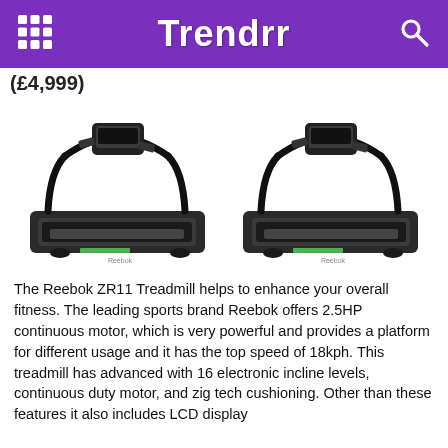Trendrr
(£4,999)
[Figure (photo): Two Reebok ZR11 treadmills shown side by side, black color with handlebar console and running belt platform.]
The Reebok ZR11 Treadmill helps to enhance your overall fitness. The leading sports brand Reebok offers 2.5HP continuous motor, which is very powerful and provides a platform for different usage and it has the top speed of 18kph. This treadmill has advanced with 16 electronic incline levels, continuous duty motor, and zig tech cushioning. Other than these features it also includes LCD display